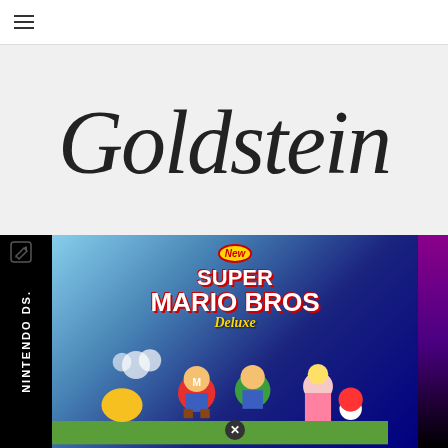≡ (hamburger menu)
Goldstein
[Figure (photo): Nintendo DS game case for New Super Mario Bros Deluxe, showing characters Mario, Luigi, Princess Peach, Toad, and Yoshi on a blue background, with a black left spine reading NINTENDO DS. A pencil/edit icon appears in the top-left corner and an X close button at the bottom center.]